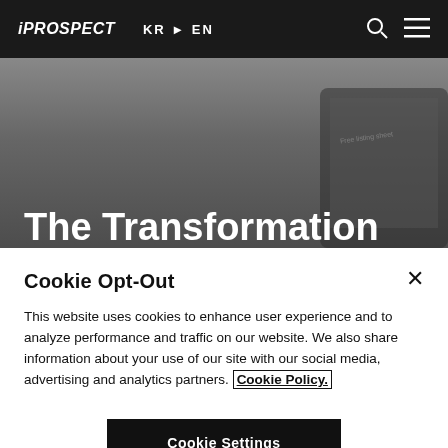iPROSPECT   KR ▶ EN
[Figure (photo): Dark grey background hero image showing a laptop or tablet screen, partially visible]
The Transformation to Free Product Listings
Cookie Opt-Out
This website uses cookies to enhance user experience and to analyze performance and traffic on our website. We also share information about your use of our site with our social media, advertising and analytics partners. Cookie Policy.
Cookie Settings